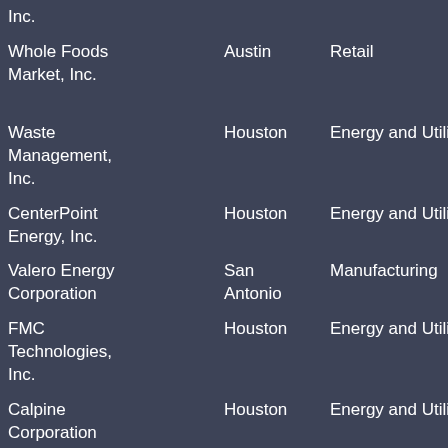| Company | City | Industry | Sub-industry |
| --- | --- | --- | --- |
| Inc. |  |  | Oil R... |
| Whole Foods Market, Inc. | Austin | Retail | Groc... Spec... Store... |
| Waste Management, Inc. | Houston | Energy and Utilities | Wast... Mana... and R... |
| CenterPoint Energy, Inc. | Houston | Energy and Utilities | Gas Elect... |
| Valero Energy Corporation | San Antonio | Manufacturing | Chem... Petro... |
| FMC Technologies, Inc. | Houston | Energy and Utilities | Alter... Ener... Sour... |
| Calpine Corporation | Houston | Energy and Utilities | Gas Elect... |
| Texas Instruments Incorporated | Dallas | Computers and Electronics | Semi... and E... Manu... |
| SYSCO Corporation | Houston | Wholesale and Distribution | Groc... Food... Who... |